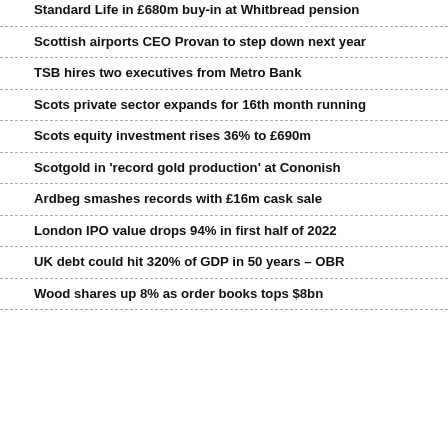Standard Life in £680m buy-in at Whitbread pension
Scottish airports CEO Provan to step down next year
TSB hires two executives from Metro Bank
Scots private sector expands for 16th month running
Scots equity investment rises 36% to £690m
Scotgold in 'record gold production' at Cononish
Ardbeg smashes records with £16m cask sale
London IPO value drops 94% in first half of 2022
UK debt could hit 320% of GDP in 50 years – OBR
Wood shares up 8% as order books tops $8bn